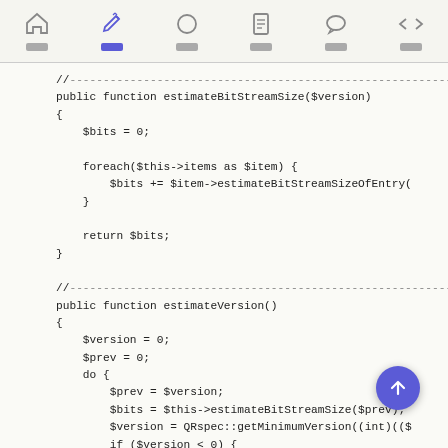Toolbar with navigation icons
[Figure (screenshot): Code editor view showing PHP functions estimateBitStreamSize and estimateVersion]
//-----------------------------------------------------------------
public function estimateBitStreamSize($version)
{
    $bits = 0;

    foreach($this->items as $item) {
        $bits += $item->estimateBitStreamSizeOfEntry(
    }

    return $bits;
}

//-----------------------------------------------------------------
public function estimateVersion()
{
    $version = 0;
    $prev = 0;
    do {
        $prev = $version;
        $bits = $this->estimateBitStreamSize($prev);
        $version = QRspec::getMinimumVersion((int)(($
        if ($version < 0) {
            return -1;
        }